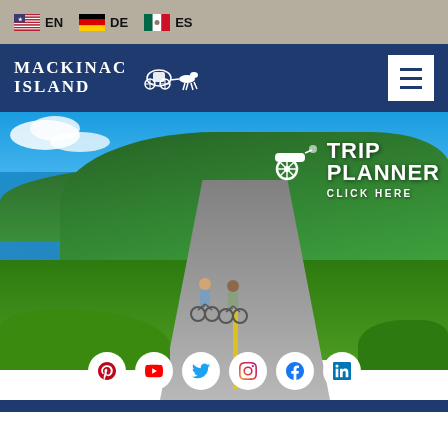EN  DE  ES — language selector bar
[Figure (screenshot): Mackinac Island tourism website screenshot showing language bar (EN, DE, ES), navy navigation bar with Mackinac Island logo and carriage icon, hero photo of two cyclists on a scenic road with blue water and green trees, Trip Planner click-here overlay, and social media icons (Pinterest, YouTube, Twitter, Instagram, Facebook, LinkedIn)]